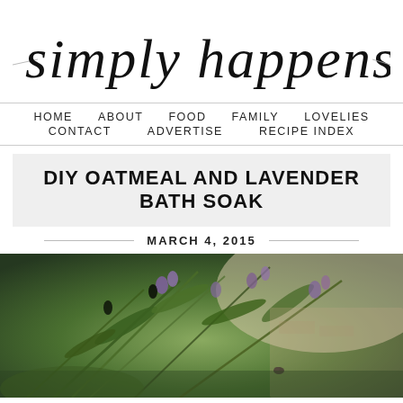simply happenstance
HOME   ABOUT   FOOD   FAMILY   LOVELIES   CONTACT   ADVERTISE   RECIPE INDEX
DIY OATMEAL AND LAVENDER BATH SOAK
MARCH 4, 2015
[Figure (photo): Close-up photo of lavender and green herbs with purple flowers on a light wooden surface, slightly blurred/bokeh style]